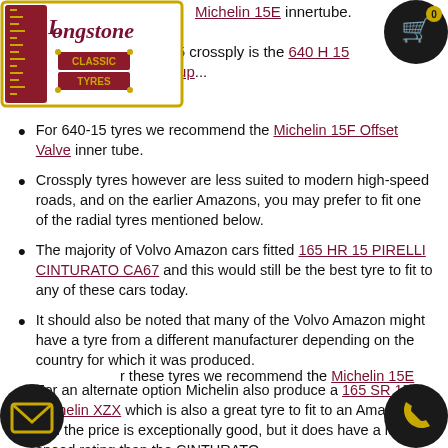[Figure (logo): Longstone Classic Tyres logo - red and gold decorative tyre design with text]
Michelin 15E innertube.
640 - 15 crossply is the 640 H 15 Avon Sup...
For 640-15 tyres we recommend the Michelin 15F Offset Valve inner tube.
Crossply tyres however are less suited to modern high-speed roads, and on the earlier Amazons, you may prefer to fit one of the radial tyres mentioned below.
The majority of Volvo Amazon cars fitted 165 HR 15 PIRELLI CINTURATO CA67 and this would still be the best tyre to fit to any of these cars today.
It should also be noted that many of the Volvo Amazon might have a tyre from a different manufacturer depending on the country for which it was produced.
For an alternate option Michelin also produce a 165 SR 15 Michelin XZX which is also a great tyre to fit to an Amazon and the price is exceptionally good, but it does have a lower speed rating than the CINTURATO.
r these tyres we recommend the Michelin 15E...